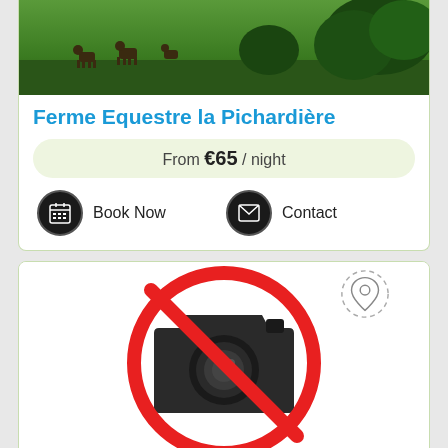[Figure (photo): Green pastoral landscape with cattle grazing near trees]
Ferme Equestre la Pichardière
From €65 / night
Book Now
Contact
[Figure (illustration): No photo available icon - red circle with slash over camera icon]
Couette Et Cafe Crème 35.4Km